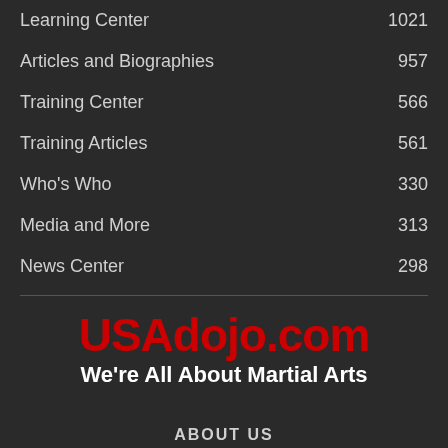Learning Center  1021
Articles and Biographies  957
Training Center  566
Training Articles  561
Who's Who  330
Media and More  313
News Center  298
[Figure (logo): USAdojo.com logo with tagline 'We're All About Martial Arts']
ABOUT US